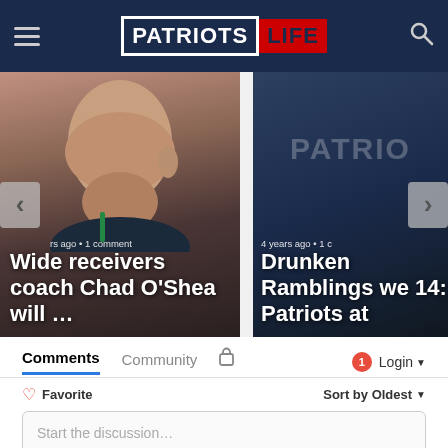Patriots Life
[Figure (screenshot): Carousel of two article cards. Left card shows a bald man looking up against a dark background with text 'rs ago • 1 comment' and title 'Wide receivers coach Chad O'Shea will …'. Right card shows a dark navy background with Patriots logo visible, text '4 years ago • 1 c' and title 'Drunken Ramblings we 14: Patriots at'. Navigation arrows on left and right sides.]
Comments
Community
1
Login
Favorite
Sort by Oldest
Start the discussion…
LOG IN WITH